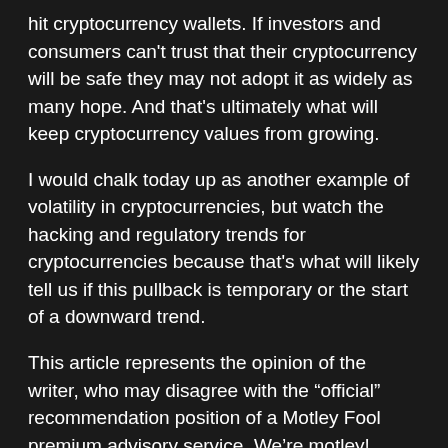hit cryptocurrency wallets. If investors and consumers can't trust that their cryptocurrency will be safe they may not adopt it as widely as many hope. And that's ultimately what will keep cryptocurrency values from growing.
I would chalk today up as another example of volatility in cryptocurrencies, but watch the hacking and regulatory trends for cryptocurrencies because that's what will likely tell us if this pullback is temporary or the start of a downward trend.
This article represents the opinion of the writer, who may disagree with the “official” recommendation position of a Motley Fool premium advisory service. We’re motley! Questioning an investing thesis — even one of our own — helps us all think critically about investing and make decisions that help us become smarter, happier, and richer.